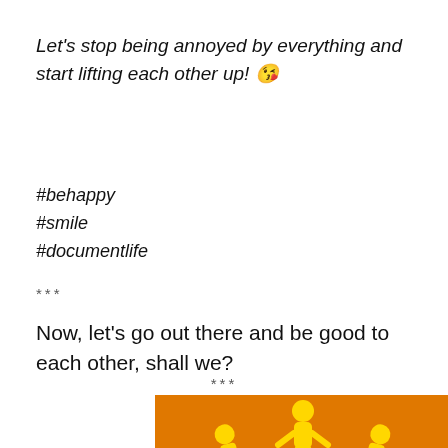Let's stop being annoyed by everything and start lifting each other up! 😘
#behappy
#smile
#documentlife
***
Now, let's go out there and be good to each other, shall we?
***
[Figure (illustration): Orange background illustration with yellow paper-doll chain of people holding hands in an arch shape]